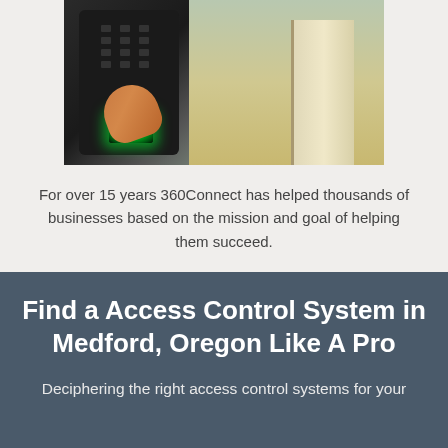[Figure (photo): A hand pressing a finger onto a fingerprint biometric access control scanner with a green glowing light, mounted on a wall near a door interior hallway]
For over 15 years 360Connect has helped thousands of businesses based on the mission and goal of helping them succeed.
Find a Access Control System in Medford, Oregon Like A Pro
Deciphering the right access control systems for your